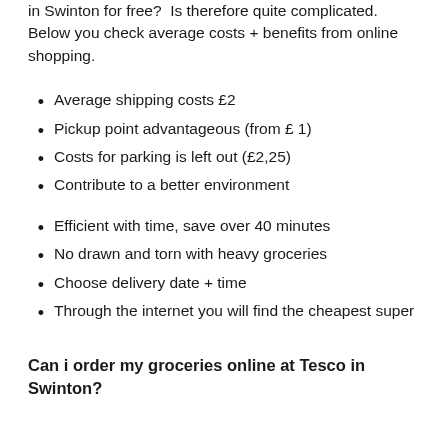in Swinton for free?  Is therefore quite complicated. Below you check average costs + benefits from online shopping.
Average shipping costs £2
Pickup point advantageous (from £ 1)
Costs for parking is left out (£2,25)
Contribute to a better environment
Efficient with time, save over 40 minutes
No drawn and torn with heavy groceries
Choose delivery date + time
Through the internet you will find the cheapest super
Can i order my groceries online at Tesco in Swinton?